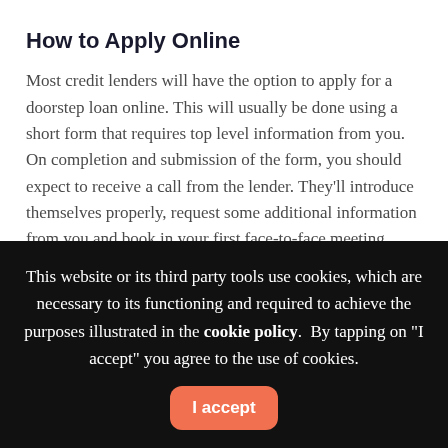How to Apply Online
Most credit lenders will have the option to apply for a doorstep loan online. This will usually be done using a short form that requires top level information from you. On completion and submission of the form, you should expect to receive a call from the lender. They'll introduce themselves properly, request some additional information from you and book in your first face-to-face meeting.
Find Your Local Credit Lender in Preesall Knott End-
This website or its third party tools use cookies, which are necessary to its functioning and required to achieve the purposes illustrated in the cookie policy.  By tapping on "I accept" you agree to the use of cookies.